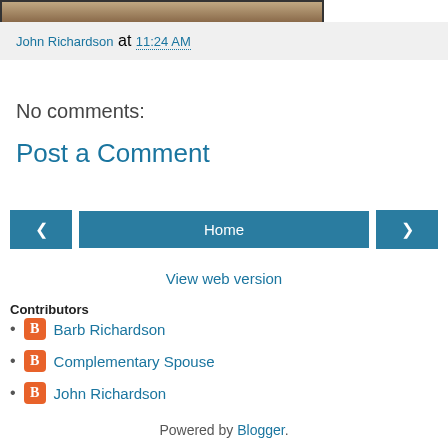[Figure (photo): Partial photo strip at the top of the page, cropped image]
John Richardson at 11:24 AM
No comments:
Post a Comment
Home
View web version
Contributors
Barb Richardson
Complementary Spouse
John Richardson
Powered by Blogger.